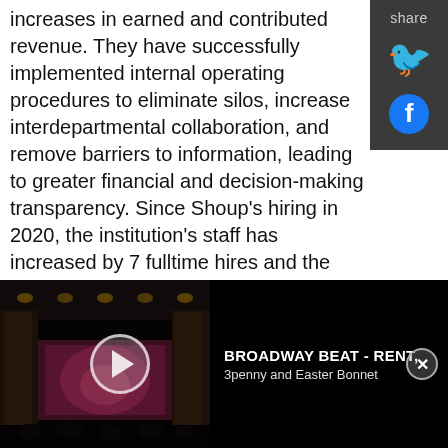increases in earned and contributed revenue. They have successfully implemented internal operating procedures to eliminate silos, increase interdepartmental collaboration, and remove barriers to information, leading to greater financial and decision-making transparency. Since Shoup's hiring in 2020, the institution's staff has increased by 7 fulltime hires and the membership model has been significantly revamped to include more individual theatre makers as well as a pay-what-you-can dues structure. "I am thrilled to continue working with the staff, board, and members of A.R.T./New York in this new permanent role. I am honored and proud to take part in this new era of leadership, and I look forward
[Figure (screenshot): Share panel with Twitter and Facebook icons on dark background]
[Figure (screenshot): Video player bar showing a theatre interior with play button. Title: BROADWAY BEAT - RENT, 3penny and Easter Bonnet]